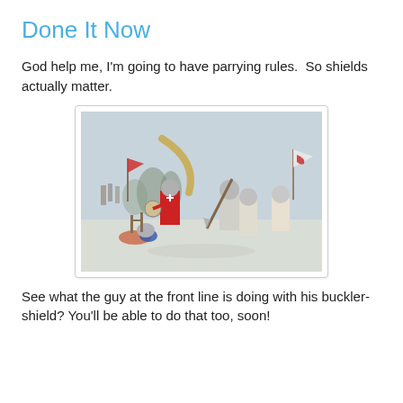Done It Now
God help me, I'm going to have parrying rules.  So shields actually matter.
[Figure (illustration): A medieval battle scene painting showing armored knights fighting. Soldiers in plate armor clash at the front line; one figure at front wields a buckler-shield. Banners with heraldic symbols including a red dragon are visible in the background. The scene is set in a wintry landscape.]
See what the guy at the front line is doing with his buckler-shield? You'll be able to do that too, soon!